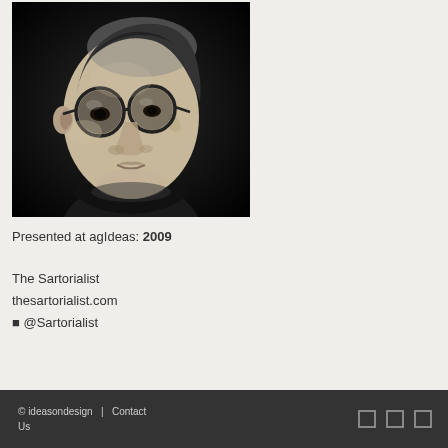[Figure (photo): Black and white portrait photo of a man wearing round glasses, looking upward, against a dark background. The Sartorialist.]
Presented at agIdeas: 2009
The Sartorialist
thesartorialist.com
⬛ @Sartorialist
© ideasondesign  |  Contact Us